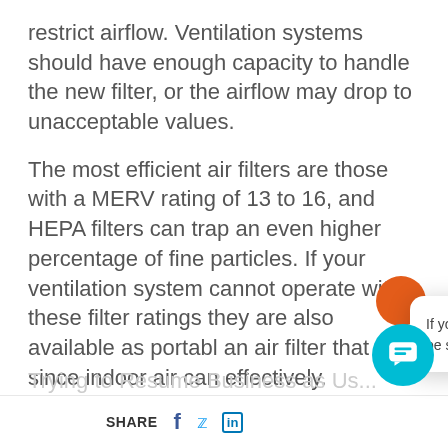restrict airflow. Ventilation systems should have enough capacity to handle the new filter, or the airflow may drop to unacceptable values.
The most efficient air filters are those with a MERV rating of 13 to 16, and HEPA filters can trap an even higher percentage of fine particles. If your ventilation system cannot operate with these filter ratings they are also available as portable an air filter that will since indoor air can effectively.
Trying to Resume Business as Us...
[Figure (screenshot): Chat popup overlay with orange N logo, close button, and message: 'If you have any question, don't be shy.']
SHARE